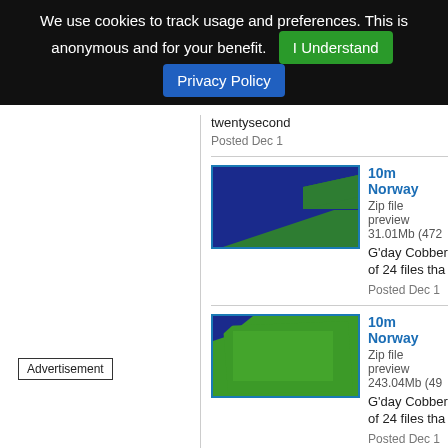We use cookies to track usage and preferences. This is anonymous and for your benefit. I Understand Privacy Policy
twentysecond
Posted Dec 1
10m Norway
Zip file preview 31.01Mb (472
G'day Cobber of 24 files tha
Posted Dec 1
[Figure (map): Map thumbnail showing blue and green terrain regions, Norway DEM preview]
10m Norway
Zip file preview 243.04Mb (49
G'day Cobber of 24 files tha
Posted Dec 1
[Figure (map): Map thumbnail showing green terrain region, Norway DEM preview]
10m Norway
Zip file preview 185.95Mb (48
[Figure (map): Map thumbnail showing blue and green terrain regions, Norway DEM preview]
Advertisement